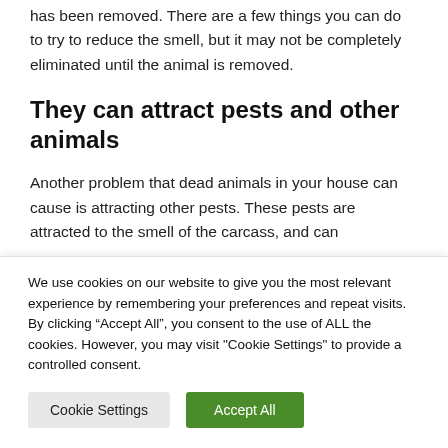has been removed. There are a few things you can do to try to reduce the smell, but it may not be completely eliminated until the animal is removed.
They can attract pests and other animals
Another problem that dead animals in your house can cause is attracting other pests. These pests are attracted to the smell of the carcass, and can
We use cookies on our website to give you the most relevant experience by remembering your preferences and repeat visits. By clicking “Accept All”, you consent to the use of ALL the cookies. However, you may visit "Cookie Settings" to provide a controlled consent.